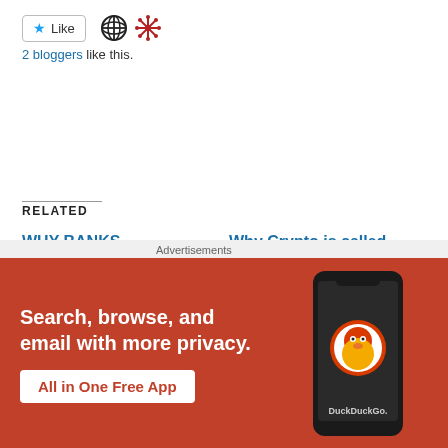[Figure (other): Like button with star icon, circle-cross icon, and decorative red cross icon]
2 bloggers like this.
RELATED
WHY BANKS MANIPULATE SILVER
March 24, 2021
In "Silver"
Why Crypto is called cryptocurrency
March 12, 2021
In "cryptocurrency"
ROBINHOOD IS A SCAM
[Figure (other): DuckDuckGo advertisement banner: Search, browse, and email with more privacy. All in One Free App. Shows phone mockup with DuckDuckGo logo.]